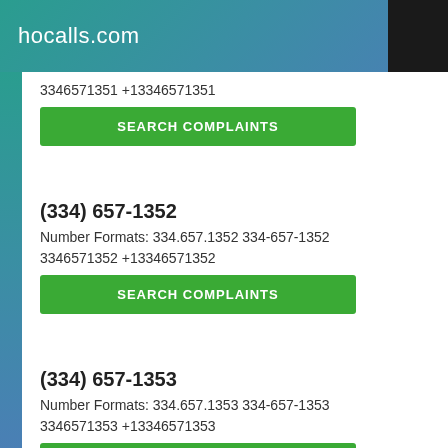hocalls.com
3346571351 +13346571351
SEARCH COMPLAINTS
(334) 657-1352
Number Formats: 334.657.1352 334-657-1352 3346571352 +13346571352
SEARCH COMPLAINTS
(334) 657-1353
Number Formats: 334.657.1353 334-657-1353 3346571353 +13346571353
SEARCH COMPLAINTS
(334) 657-1354
Number Formats: 334.657.1354 334-657-1354